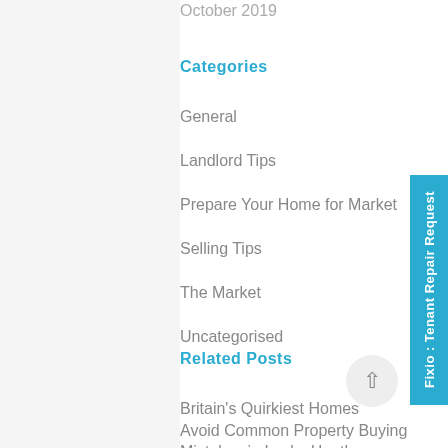October 2019
Categories
General
Landlord Tips
Prepare Your Home for Market
Selling Tips
The Market
Uncategorised
Related Posts
Britain's Quirkiest Homes
Avoid Common Property Buying Mistakes in Locks Heath